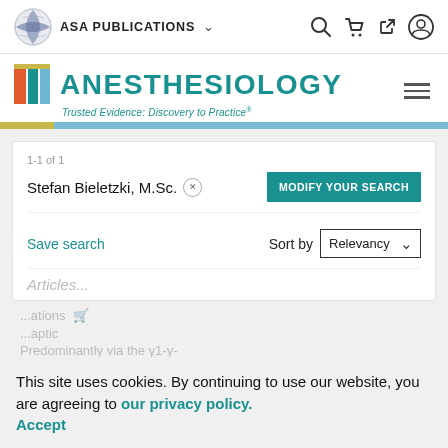ASA PUBLICATIONS
[Figure (logo): Anesthesiology journal logo with colorful bar icon and teal text 'ANESTHESIOLOGY', tagline 'Trusted Evidence: Discovery to Practice']
1-1 of 1
Stefan Bieletzki, M.Sc.
MODIFY YOUR SEARCH
Save search
Sort by  Relevancy
Articles
This site uses cookies. By continuing to use our website, you are agreeing to our privacy policy. Accept